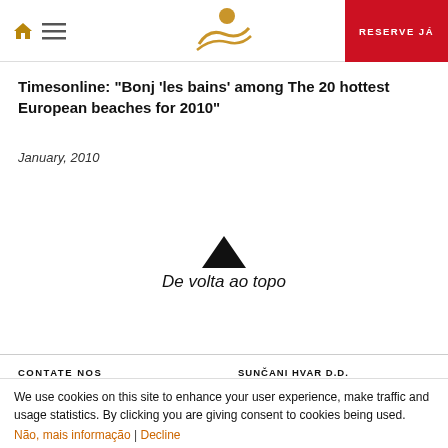RESERVE JÁ
[Figure (logo): Golden sun and waves logo (Bonj les bains / Sunčani Hvar style)]
Timesonline: "Bonj 'les bains' among The 20 hottest European beaches for 2010"
January, 2010
[Figure (illustration): Black upward-pointing triangle arrow icon (back to top button)]
De volta ao topo
CONTATE NOS
SUNČANI HVAR D.D.
We use cookies on this site to enhance your user experience, make traffic and usage statistics. By clicking you are giving consent to cookies being used.
Não, mais informação | Decline